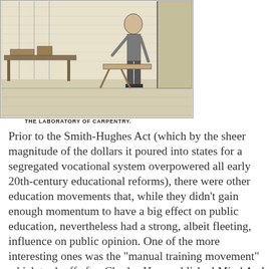[Figure (illustration): Black and white engraving of a carpentry laboratory showing a person working with wood in a workshop setting. Caption reads: THE LABORATORY OF CARPENTRY.]
THE LABORATORY OF CARPENTRY.
Prior to the Smith-Hughes Act (which by the sheer magnitude of the dollars it poured into states for a segregated vocational system overpowered all early 20th-century educational reforms), there were other education movements that, while they didn't gain enough momentum to have a big effect on public education, nevertheless had a strong, albeit fleeting, influence on public opinion. One of the more interesting ones was the "manual training movement" which took off after Charles Ham published Mind And Hand: the Chief Factor in Education in 1886 (republished 1900 ). In this